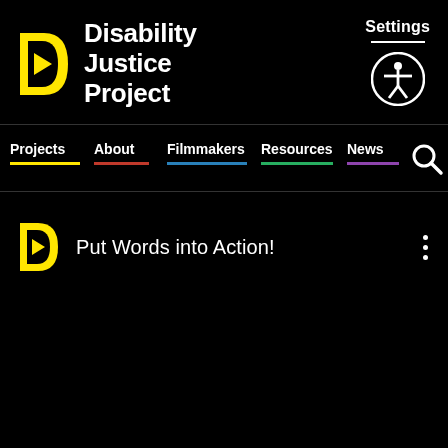Disability Justice Project
Settings
[Figure (logo): Yellow D-shaped play button logo for Disability Justice Project]
[Figure (illustration): Accessibility icon: person in circle with arms and legs outstretched]
Projects | About | Filmmakers | Resources | News
Put Words into Action!